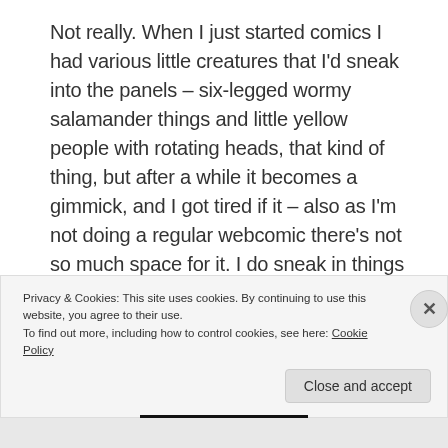Not really. When I just started comics I had various little creatures that I'd sneak into the panels – six-legged wormy salamander things and little yellow people with rotating heads, that kind of thing, but after a while it becomes a gimmick, and I got tired if it – also as I'm not doing a regular webcomic there's not so much space for it. I do sneak in things that make me laugh when I can. I like putting secret monsters in complex panels, or posters with weird stuff written on in the background, or giving objects faces. Comics has a lot of room for things like that, because you have focus on certain elements of the art and often you can do what you like with the bits around the edges. either to make them beautiful. or meaningful. or. if
Privacy & Cookies: This site uses cookies. By continuing to use this website, you agree to their use.
To find out more, including how to control cookies, see here: Cookie Policy
Close and accept